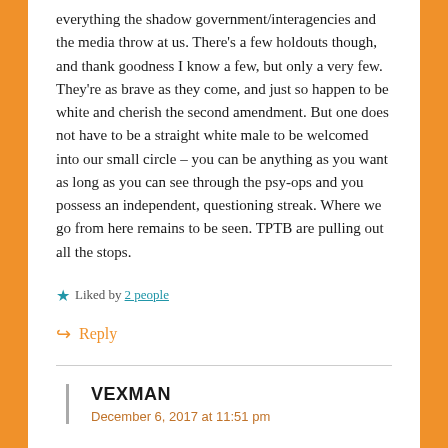everything the shadow government/interagencies and the media throw at us. There's a few holdouts though, and thank goodness I know a few, but only a very few. They're as brave as they come, and just so happen to be white and cherish the second amendment. But one does not have to be a straight white male to be welcomed into our small circle – you can be anything as you want as long as you can see through the psy-ops and you possess an independent, questioning streak. Where we go from here remains to be seen. TPTB are pulling out all the stops.
Liked by 2 people
Reply
VEXMAN
December 6, 2017 at 11:51 pm